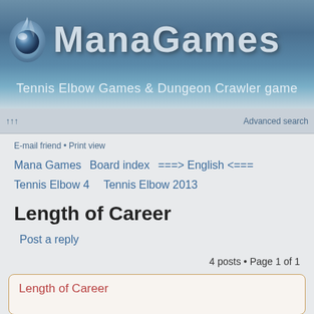[Figure (logo): ManaGames logo with flame/orb icon and stylized metallic text on blue-grey gradient banner]
Tennis Elbow Games & Dungeon Crawler game
↑↑↑   Advanced search
E-mail friend • Print view
Mana Games   Board index   ===> English <===
Tennis Elbow 4   Tennis Elbow 2013
Length of Career
Post a reply
4 posts • Page 1 of 1
Length of Career